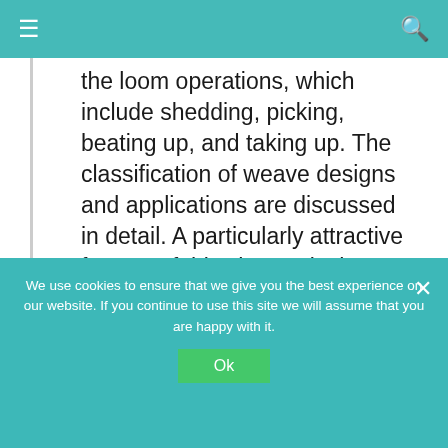≡  🔍
the loom operations, which include shedding, picking, beating up, and taking up. The classification of weave designs and applications are discussed in detail. A particularly attractive feature of this chapter is the learning activities, which will be extremely valuable for a budding design technologist.
Chapter 8 on weft knitting technology by M...
We use cookies to ensure that we give you the best experience on our website. If you continue to use this site we will assume that you are happy with it.
Ok